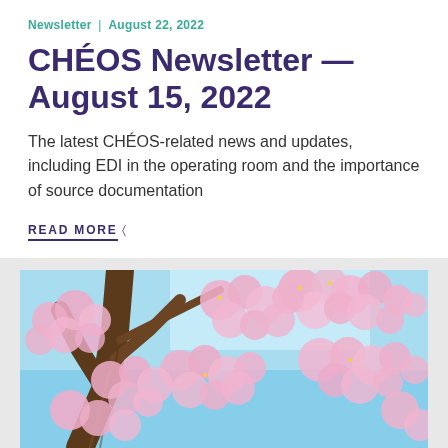Newsletter | August 22, 2022
CHÉOS Newsletter — August 15, 2022
The latest CHÉOS-related news and updates, including EDI in the operating room and the importance of source documentation
READ MORE →
[Figure (photo): Cherry blossom tree with pink flowers against a blue sky, viewed from below looking up through the branches]